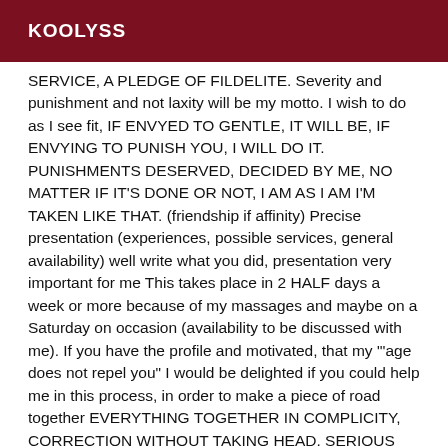KOOLYSS
SERVICE, A PLEDGE OF FILDELITE. Severity and punishment and not laxity will be my motto. I wish to do as I see fit, IF ENVYED TO GENTLE, IT WILL BE, IF ENVYING TO PUNISH YOU, I WILL DO IT. PUNISHMENTS DESERVED, DECIDED BY ME, NO MATTER IF IT'S DONE OR NOT, I AM AS I AM I'M TAKEN LIKE THAT. (friendship if affinity) Precise presentation (experiences, possible services, general availability) well write what you did, presentation very important for me This takes place in 2 HALF days a week or more because of my massages and maybe on a Saturday on occasion (availability to be discussed with me). If you have the profile and motivated, that my "'age does not repel you" I would be delighted if you could help me in this process, in order to make a piece of road together EVERYTHING TOGETHER IN COMPLICITY, CORRECTION WITHOUT TAKING HEAD. SERIOUS AND VERY URGENT ADVERTISING taking into